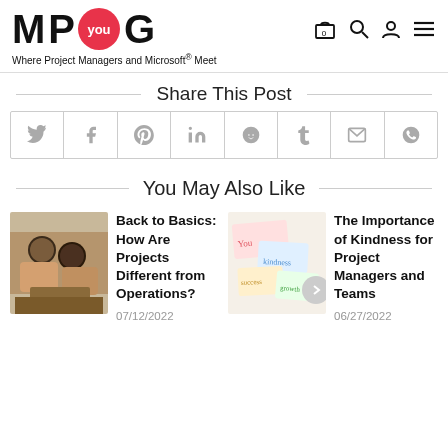M P you G — Where Project Managers and Microsoft® Meet
Share This Post
[Figure (infographic): Row of social share icon buttons: Twitter, Facebook, Pinterest, LinkedIn, Reddit, Tumblr, Email, WhatsApp]
You May Also Like
[Figure (photo): Thumbnail photo of people working together at a table]
Back to Basics: How Are Projects Different from Operations?
07/12/2022
[Figure (photo): Thumbnail photo of sticky notes with handwritten words]
The Importance of Kindness for Project Managers and Teams
06/27/2022